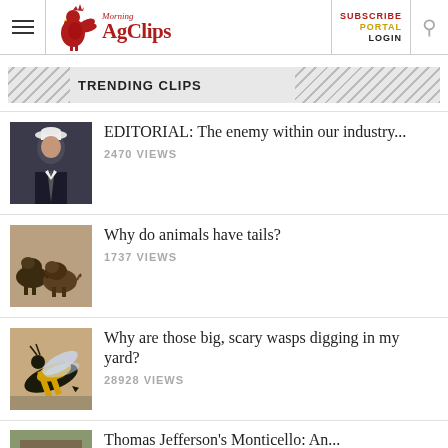Morning AgClips — SUBSCRIBE PORTAL LOGIN
TRENDING CLIPS
EDITORIAL: The enemy within our industry... — 2470 VIEWS
Why do animals have tails? — 1737 VIEWS
Why are those big, scary wasps digging in my yard? — 28928 VIEWS
Thomas Jefferson's Monticello: An...